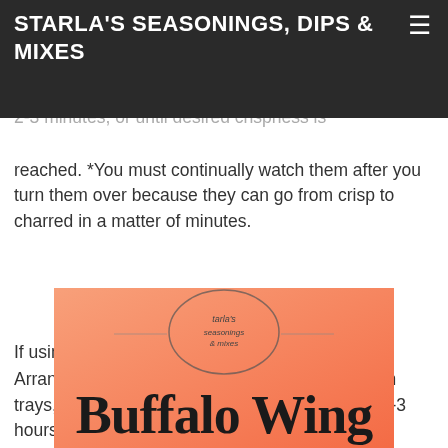STARLA'S SEASONINGS, DIPS & MIXES
flip each chip over, and return to the oven for another 2-3 minutes, or until desired crispness is reached. *You must continually watch them after you turn them over because they can go from crisp to charred in a matter of minutes.
If using a dehydrator
Arrange the slices into a single layer on the mesh trays, and dry at 155F (High) for approximately 2-3 hours, or until desired crispness is reached.
[Figure (logo): Starla's Seasonings & Mixes product image with orange-pink gradient background and Buffalo Wing text partially visible at bottom]